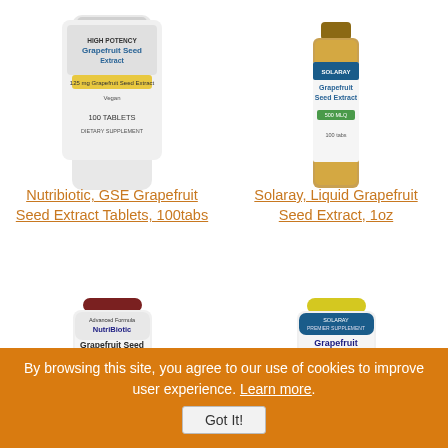[Figure (photo): Nutribiotic GSE Grapefruit Seed Extract Tablets bottle, top portion visible]
[Figure (photo): Solaray Liquid Grapefruit Seed Extract bottle, top portion visible]
Nutribiotic, GSE Grapefruit Seed Extract Tablets, 100tabs
Solaray, Liquid Grapefruit Seed Extract, 1oz
[Figure (photo): NutriBiotic Grapefruit Seed Extract capsules bottle with maroon cap]
[Figure (photo): Solaray Grapefruit Seed Extract 250 MG capsules bottle with yellow cap]
By browsing this site, you agree to our use of cookies to improve user experience. Learn more. Got It!